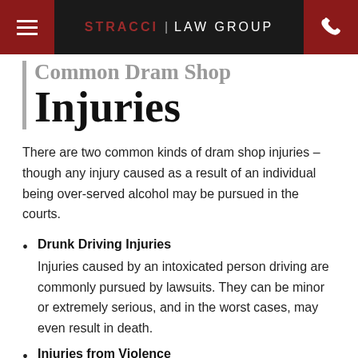STRACCI | LAW GROUP
Common Dram Shop Injuries
There are two common kinds of dram shop injuries – though any injury caused as a result of an individual being over-served alcohol may be pursued in the courts.
Drunk Driving Injuries – Injuries caused by an intoxicated person driving are commonly pursued by lawsuits. They can be minor or extremely serious, and in the worst cases, may even result in death.
Injuries from Violence – Injuries caused by violence may be a result of an